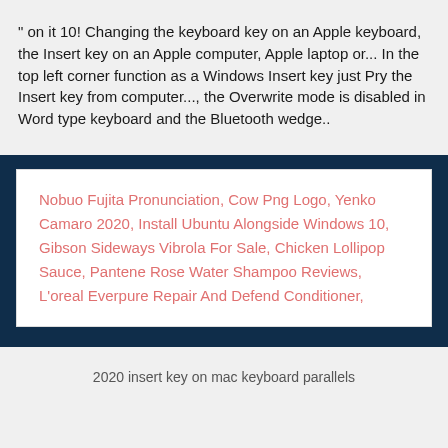" on it 10! Changing the keyboard key on an Apple keyboard, the Insert key on an Apple computer, Apple laptop or... In the top left corner function as a Windows Insert key just Pry the Insert key from computer..., the Overwrite mode is disabled in Word type keyboard and the Bluetooth wedge..
Nobuo Fujita Pronunciation, Cow Png Logo, Yenko Camaro 2020, Install Ubuntu Alongside Windows 10, Gibson Sideways Vibrola For Sale, Chicken Lollipop Sauce, Pantene Rose Water Shampoo Reviews, L'oreal Everpure Repair And Defend Conditioner,
2020 insert key on mac keyboard parallels